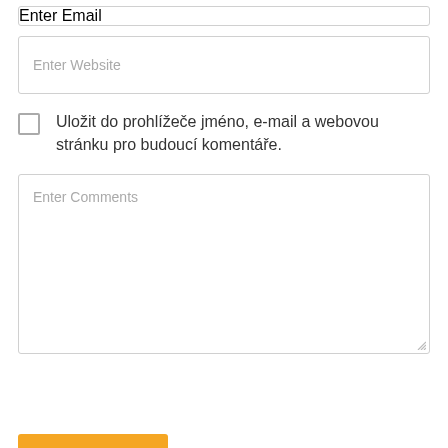Enter Email
Enter Website
Uložit do prohlížeče jméno, e-mail a webovou stránku pro budoucí komentáře.
Enter Comments